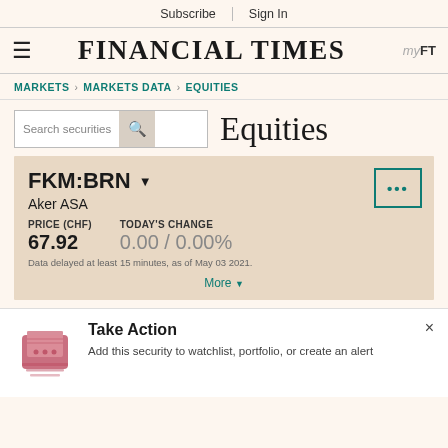Subscribe | Sign In
FINANCIAL TIMES
MARKETS > MARKETS DATA > EQUITIES
Search securities | Equities
FKM:BRN
Aker ASA
PRICE (CHF)
67.92
TODAY'S CHANGE
0.00 / 0.00%
Data delayed at least 15 minutes, as of May 03 2021.
More
Take Action
Add this security to watchlist, portfolio, or create an alert